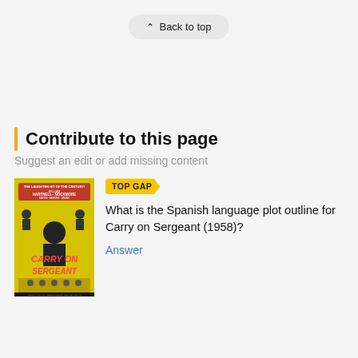^ Back to top
Contribute to this page
Suggest an edit or add missing content
[Figure (photo): Movie poster for Carry on Sergeant (1958) with yellow background]
TOP GAP
What is the Spanish language plot outline for Carry on Sergeant (1958)?
Answer